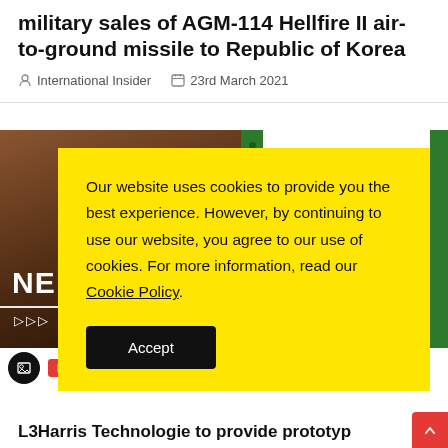military sales of AGM-114 Hellfire II air-to-ground missile to Republic of Korea
International Insider   23rd March 2021
[Figure (screenshot): Partially visible image card with a soldier silhouette in dark brown tones, text 'NE' in white bold, play arrows, and a green strip on the right with dots]
Military
L3Harris Technologie to provide prototyp
Our website uses cookies to provide you the best experience. However, by continuing to use our website, you agree to our use of cookies. For more information, read our Cookie Policy.
Accept